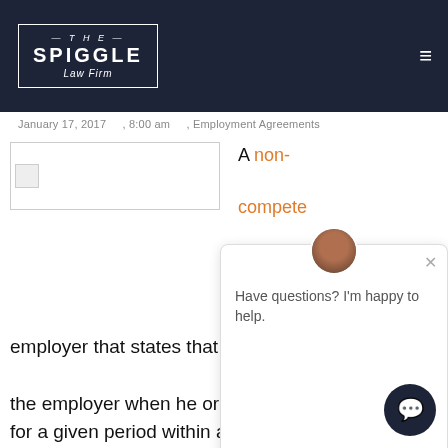THE SPIGGLE Law Firm
January 17, 2017 , 8:00 am , Employment Agreements
[Figure (photo): Broken image placeholder on the left side of the article]
A non-compete agreement is a contract that an employee signs with an employer that states that the employee will not compete with the employer when he or she leaves the business for a given period within a specific geographic area. Though these agreements originally were meant for high-ranking
Have questions? I'm happy to help.